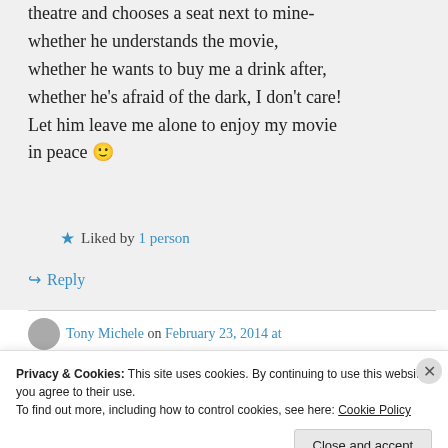theatre and chooses a seat next to mine- whether he understands the movie, whether he wants to buy me a drink after, whether he's afraid of the dark, I don't care! Let him leave me alone to enjoy my movie in peace 🙂
Liked by 1 person
↪ Reply
Tony Michele on February 23, 2014 at
Privacy & Cookies: This site uses cookies. By continuing to use this website, you agree to their use. To find out more, including how to control cookies, see here: Cookie Policy